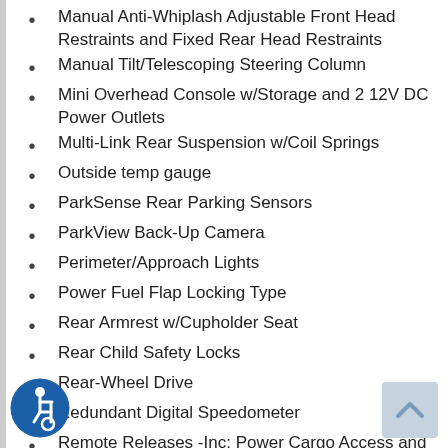Manual Anti-Whiplash Adjustable Front Head Restraints and Fixed Rear Head Restraints
Manual Tilt/Telescoping Steering Column
Mini Overhead Console w/Storage and 2 12V DC Power Outlets
Multi-Link Rear Suspension w/Coil Springs
Outside temp gauge
ParkSense Rear Parking Sensors
ParkView Back-Up Camera
Perimeter/Approach Lights
Power Fuel Flap Locking Type
Rear Armrest w/Cupholder Seat
Rear Child Safety Locks
Rear-Wheel Drive
Redundant Digital Speedometer
Remote Releases -Inc: Power Cargo Access and Power Fuel
Sentry Key Engine Immobilizer